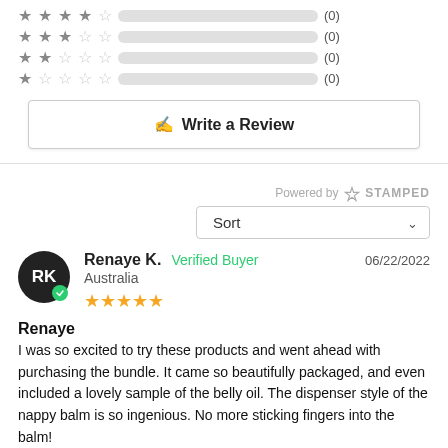[Figure (infographic): Rating distribution bars: 4-star (0), 3-star (0), 2-star (0), 1-star (0) — all empty bars with counts of zero]
✍ Write a Review
Powered by STAMPED
Sort
Renaye K. Verified Buyer 06/22/2022
Australia
★★★★★
Renaye
I was so excited to try these products and went ahead with purchasing the bundle. It came so beautifully packaged, and even included a lovely sample of the belly oil. The dispenser style of the nappy balm is so ingenious. No more sticking fingers into the balm!